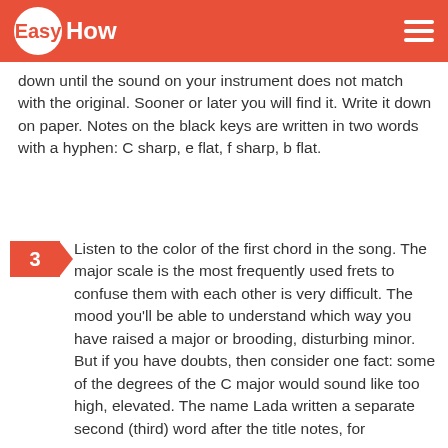EasyHow
down until the sound on your instrument does not match with the original. Sooner or later you will find it. Write it down on paper. Notes on the black keys are written in two words with a hyphen: C sharp, e flat, f sharp, b flat.
3. Listen to the color of the first chord in the song. The major scale is the most frequently used frets to confuse them with each other is very difficult. The mood you'll be able to understand which way you have raised a major or brooding, disturbing minor. But if you have doubts, then consider one fact: some of the degrees of the C major would sound like too high, elevated. The name Lada written a separate second (third) word after the title notes, for